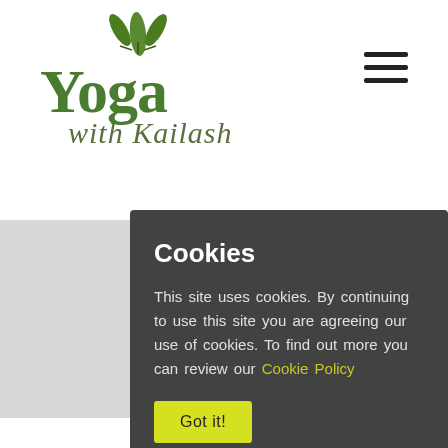[Figure (logo): Yoga with Kailash logo: green leaf icon above bold green 'Yoga' text with italic 'with Kailash' subtitle]
[Figure (other): Hamburger menu icon (three horizontal lines) in top right corner]
Cookies
This site uses cookies. By continuing to use this site you are agreeing our use of cookies. To find out more you can review our Cookie Policy
Got it!
Privacy - Terms